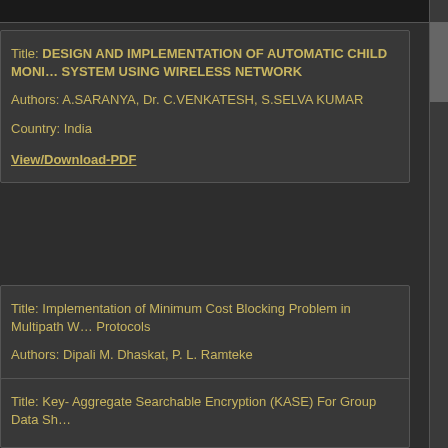Title: DESIGN AND IMPLEMENTATION OF AUTOMATIC CHILD MONITORING SYSTEM USING WIRELESS NETWORK
Authors: A.SARANYA, Dr. C.VENKATESH, S.SELVA KUMAR
Country: India
View/Download-PDF
Title: Implementation of Minimum Cost Blocking Problem in Multipath Wireless Protocols
Authors: Dipali M. Dhaskat, P. L. Ramteke
Country: India
View/Download-PDF
Title: Key- Aggregate Searchable Encryption (KASE) For Group Data Sh...